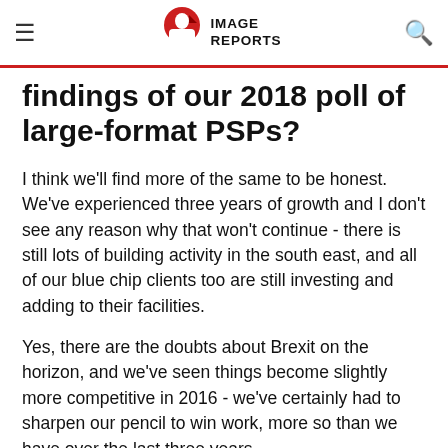≡  IMAGE REPORTS  🔍
findings of our 2018 poll of large-format PSPs?
I think we'll find more of the same to be honest. We've experienced three years of growth and I don't see any reason why that won't continue - there is still lots of building activity in the south east, and all of our blue chip clients too are still investing and adding to their facilities.
Yes, there are the doubts about Brexit on the horizon, and we've seen things become slightly more competitive in 2016 - we've certainly had to sharpen our pencil to win work, more so than we have over the last three years.
Is that because there's less spend